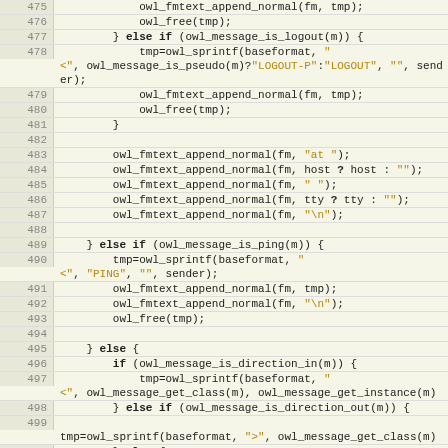[Figure (screenshot): Source code editor showing C code lines 475-502, with line numbers on the left in a beige/tan gutter, and code on the right with syntax highlighting. Keywords in bold black, string literals in dark gold/orange.]